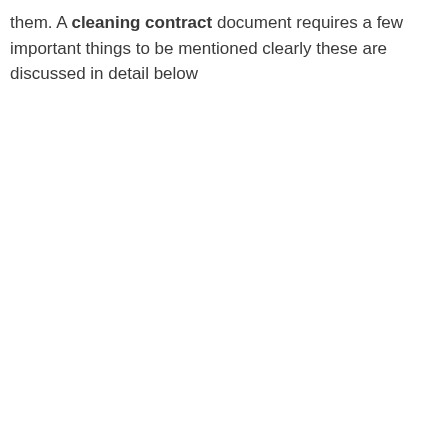them. A cleaning contract document requires a few important things to be mentioned clearly these are discussed in detail below